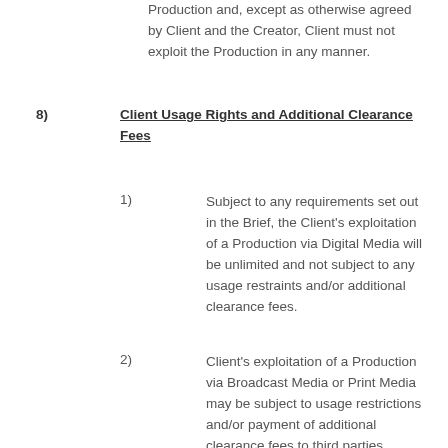Production and, except as otherwise agreed by Client and the Creator, Client must not exploit the Production in any manner.
8)   Client Usage Rights and Additional Clearance Fees
1)   Subject to any requirements set out in the Brief, the Client's exploitation of a Production via Digital Media will be unlimited and not subject to any usage restraints and/or additional clearance fees.
2)   Client's exploitation of a Production via Broadcast Media or Print Media may be subject to usage restrictions and/or payment of additional clearance fees to third parties